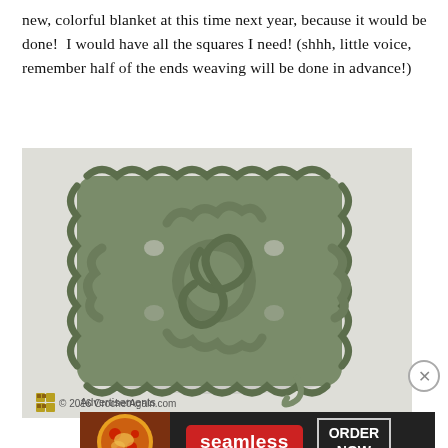new, colorful blanket at this time next year, because it would be done!  I would have all the squares I need! (shhh, little voice, remember half of the ends weaving will be done in advance!)
[Figure (photo): A single green crocheted granny square on a white/light gray background. The square is made of sage/olive green yarn with a spiral center pattern and a loose yarn tail hanging from the bottom right corner. Watermark in bottom left: icon + '© 2016 CrochetAgain.com']
© 2016 CrochetAgain.com
Advertisements
[Figure (screenshot): Seamless food delivery advertisement banner. Left: pizza photo. Middle: 'seamless' logo in red rounded rectangle. Right: 'ORDER NOW' text in white bordered box on dark background.]